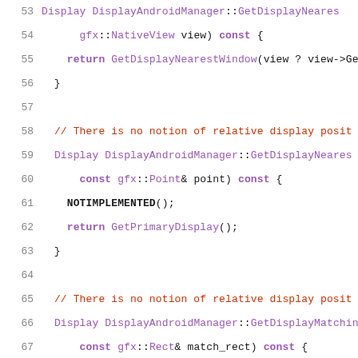[Figure (screenshot): Source code listing in C++ showing lines 53-74 of DisplayAndroidManager implementation. Lines show function definitions for GetDisplayNearest(gfx::NativeView view), GetDisplayNearest(const gfx::Point& point), and GetDisplayMatching(const gfx::Rect& match_rect), as well as a comment about Methods called from Java. Syntax highlighted with purple for keywords/types and red for comments.]